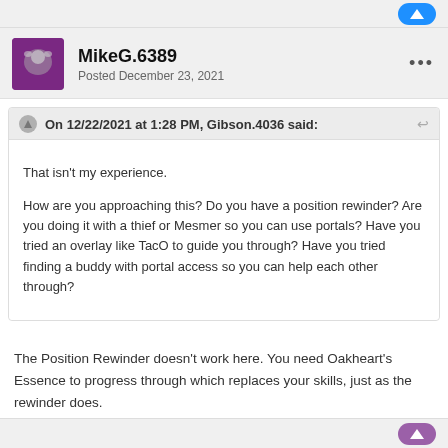MikeG.6389
Posted December 23, 2021
On 12/22/2021 at 1:28 PM, Gibson.4036 said:
That isn't my experience.

How are you approaching this? Do you have a position rewinder? Are you doing it with a thief or Mesmer so you can use portals? Have you tried an overlay like TacO to guide you through? Have you tried finding a buddy with portal access so you can help each other through?
The Position Rewinder doesn't work here. You need Oakheart's Essence to progress through which replaces your skills, just as the rewinder does.